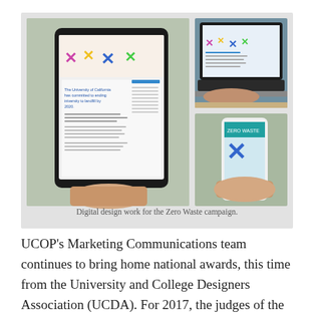[Figure (photo): Collage of three photos showing digital design work for the Zero Waste campaign displayed on a tablet (left, large), a laptop (top right), and a smartphone (bottom right).]
Digital design work for the Zero Waste campaign.
UCOP's Marketing Communications team continues to bring home national awards, this time from the University and College Designers Association (UCDA). For 2017, the judges of the annual UCDA Design